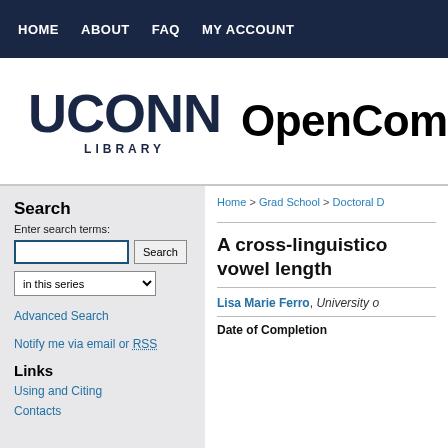HOME   ABOUT   FAQ   MY ACCOUNT
[Figure (logo): UConn Library logo and OpenComm text header]
Search
Enter search terms:
in this series [dropdown]
Advanced Search
Notify me via email or RSS
Links
Using and Citing
Contacts
Home > Grad School > Doctoral D
A cross-linguistic... vowel length
Lisa Marie Ferro, University o...
Date of Completion